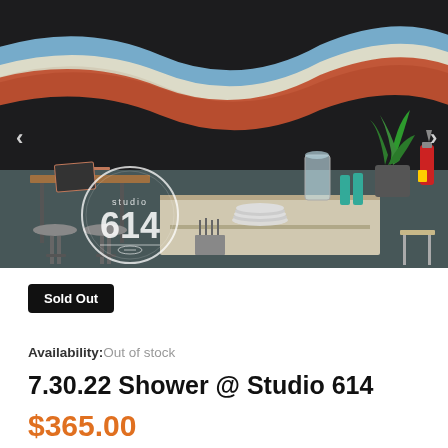[Figure (photo): Interior photo of Studio 614 event space with colorful wavy mural on dark wall, bar/counter area with stacked plates, glassware, a potted plant, stools, and tables with laptops. Studio 614 logo overlaid in white circle.]
Sold Out
Availability: Out of stock
7.30.22 Shower @ Studio 614
$365.00